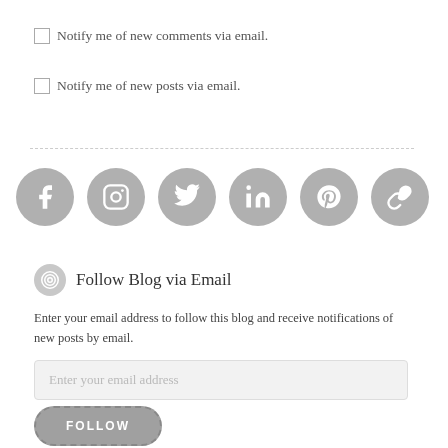Notify me of new comments via email.
Notify me of new posts via email.
[Figure (infographic): Six gray social media icon circles: Facebook, Instagram, Twitter, LinkedIn, Pinterest, Link]
Follow Blog via Email
Enter your email address to follow this blog and receive notifications of new posts by email.
Enter your email address
FOLLOW